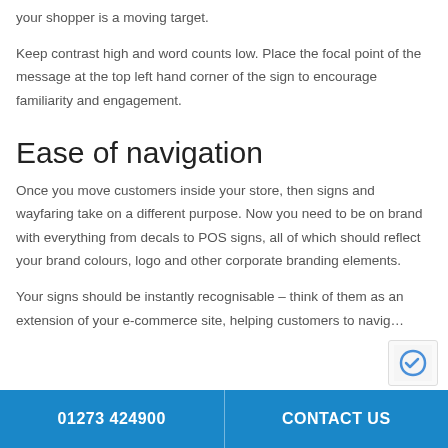your shopper is a moving target.
Keep contrast high and word counts low. Place the focal point of the message at the top left hand corner of the sign to encourage familiarity and engagement.
Ease of navigation
Once you move customers inside your store, then signs and wayfaring take on a different purpose. Now you need to be on brand with everything from decals to POS signs, all of which should reflect your brand colours, logo and other corporate branding elements.
Your signs should be instantly recognisable – think of them as an extension of your e-commerce site, helping customers to navig...
01273 424900   CONTACT US